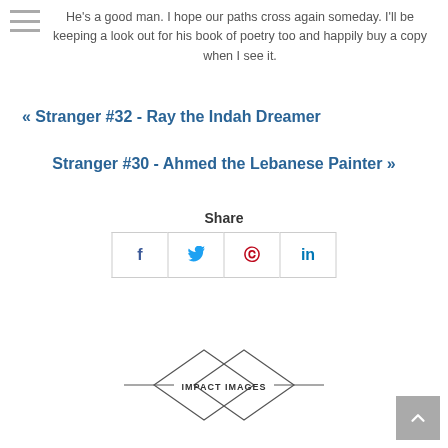He's a good man. I hope our paths cross again someday. I'll be keeping a look out for his book of poetry too and happily buy a copy when I see it.
« Stranger #32 - Ray the Indah Dreamer
Stranger #30 - Ahmed the Lebanese Painter »
Share
[Figure (infographic): Social share buttons: Facebook (f), Twitter bird, Pinterest (p), LinkedIn (in)]
[Figure (logo): Impact Images logo — two overlapping diamond outlines with text IMPACT IMAGES in the center]